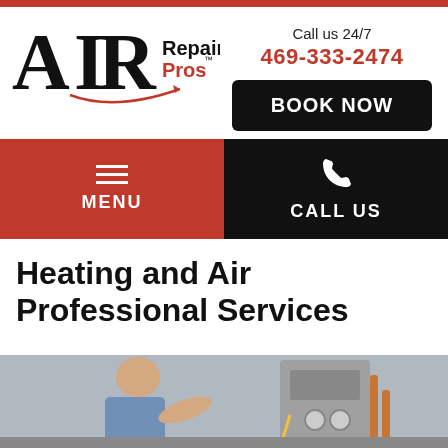[Figure (logo): AIR Repair Pros logo with stylized letters and red swoosh arrow]
Call us 24/7
469-333-2474
BOOK NOW
MENU
CALL US
Heating and Air Professional Services
[Figure (photo): Technician working on HVAC/heating unit equipment]